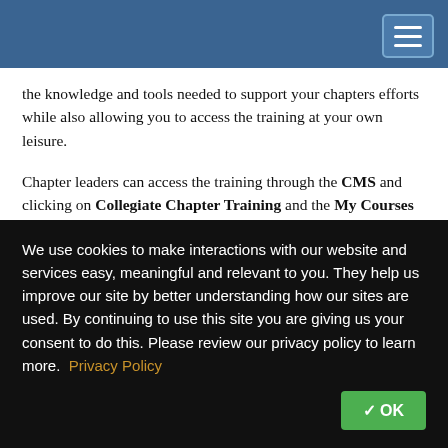[Navigation bar with hamburger menu]
the knowledge and tools needed to support your chapters efforts while also allowing you to access the training at your own leisure.
Chapter leaders can access the training through the CMS and clicking on Collegiate Chapter Training and the My Courses tab. You can access the seven-part training videos at any time and once completed, you'll log your completion date within the CMS. Chapters can receive points towards the
We use cookies to make interactions with our website and services easy, meaningful and relevant to you. They help us improve our site by better understanding how our sites are used. By continuing to use this site you are giving us your consent to do this. Please review our privacy policy to learn more. Privacy Policy